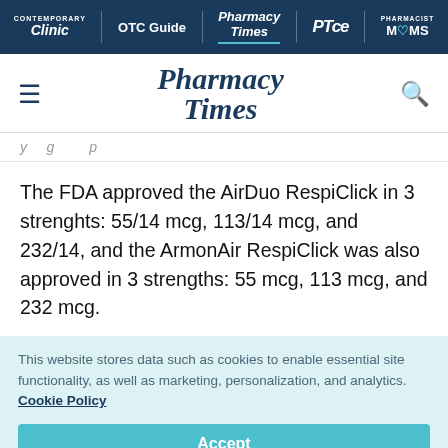Clinic | OTC Guide | Pharmacy Times | PTce | Pharmacist MOMS
[Figure (logo): Pharmacy Times logo with hamburger menu and search icon]
y g p
The FDA approved the AirDuo RespiClick in 3 strenghts: 55/14 mcg, 113/14 mcg, and 232/14, and the ArmonAir RespiClick was also approved in 3 strengths: 55 mcg, 113 mcg, and 232 mcg.
This website stores data such as cookies to enable essential site functionality, as well as marketing, personalization, and analytics. Cookie Policy
Accept
Deny